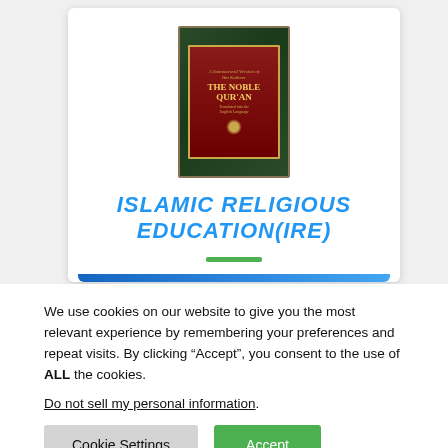[Figure (illustration): Book cover of The Noble Quran with dark green and red design with gold borders]
ISLAMIC RELIGIOUS EDUCATION(IRE)
We use cookies on our website to give you the most relevant experience by remembering your preferences and repeat visits. By clicking “Accept”, you consent to the use of ALL the cookies.
Do not sell my personal information.
Cookie Settings  Accept